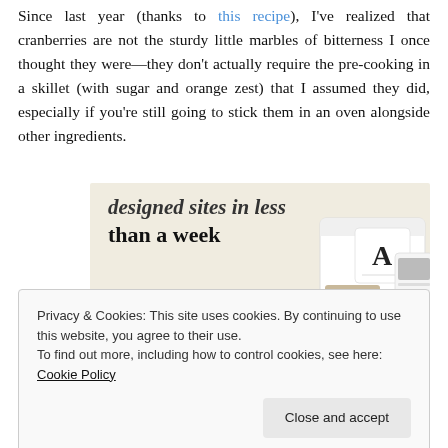Since last year (thanks to this recipe), I've realized that cranberries are not the sturdy little marbles of bitterness I once thought they were—they don't actually require the pre-cooking in a skillet (with sugar and orange zest) that I assumed they did, especially if you're still going to stick them in an oven alongside other ingredients.
[Figure (screenshot): Advertisement banner with beige background showing text 'designed sites in less than a week', a green 'Explore options' button, and mockup screenshots of website designs on the right.]
Privacy & Cookies: This site uses cookies. By continuing to use this website, you agree to their use.
To find out more, including how to control cookies, see here: Cookie Policy